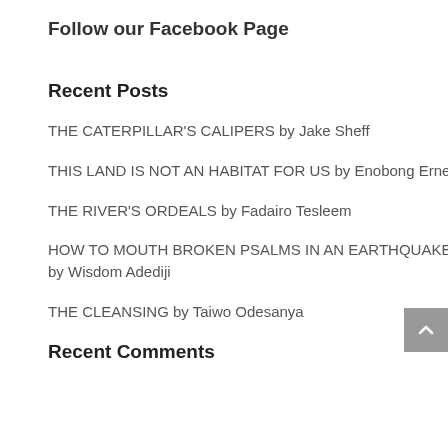Follow our Facebook Page
Recent Posts
THE CATERPILLAR'S CALIPERS by Jake Sheff
THIS LAND IS NOT AN HABITAT FOR US by Enobong Ernest
THE RIVER'S ORDEALS by Fadairo Tesleem
HOW TO MOUTH BROKEN PSALMS IN AN EARTHQUAKE by Wisdom Adediji
THE CLEANSING by Taiwo Odesanya
Recent Comments